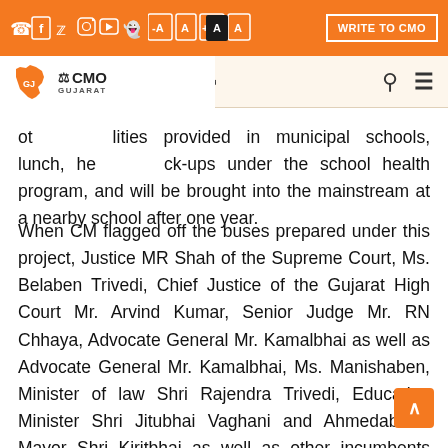Social icons, font size controls, WRITE TO CMO button, ENGLISH / Gujarati language toggle, search and menu icons
[Figure (logo): CMO Gujarat logo with Gujarat state map silhouette in orange and CMO Gujarat emblem text]
ot... lities provided in municipal schools, lunch, he... eck-ups under the school health program, and will be brought into the mainstream at a nearby school after one year.
When CM flagged off the buses prepared under this project, Justice MR Shah of the Supreme Court, Ms. Belaben Trivedi, Chief Justice of the Gujarat High Court Mr. Arvind Kumar, Senior Judge Mr. RN Chhaya, Advocate General Mr. Kamalbhai as well as Advocate General Mr. Kamalbhai, Ms. Manishaben, Minister of law Shri Rajendra Trivedi, Education Minister Shri Jitubhai Vaghani and Ahmedabad's Mayor Shri Kiritbhai as well as other incumbents were also present. CM also called for the collective social responsibility and stressed that this social welfare